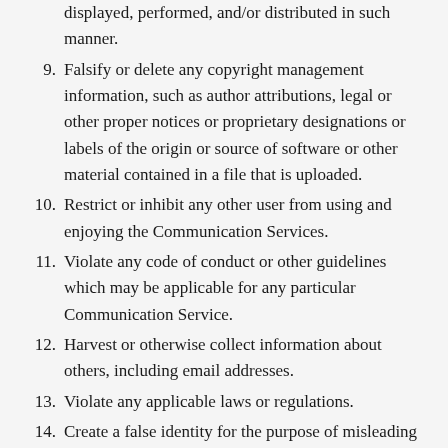(continuation) displayed, performed, and/or distributed in such manner.
9. Falsify or delete any copyright management information, such as author attributions, legal or other proper notices or proprietary designations or labels of the origin or source of software or other material contained in a file that is uploaded.
10. Restrict or inhibit any other user from using and enjoying the Communication Services.
11. Violate any code of conduct or other guidelines which may be applicable for any particular Communication Service.
12. Harvest or otherwise collect information about others, including email addresses.
13. Violate any applicable laws or regulations.
14. Create a false identity for the purpose of misleading others.